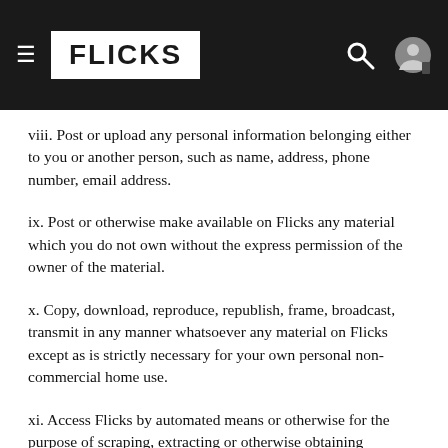FLICKS
viii. Post or upload any personal information belonging either to you or another person, such as name, address, phone number, email address.
ix. Post or otherwise make available on Flicks any material which you do not own without the express permission of the owner of the material.
x. Copy, download, reproduce, republish, frame, broadcast, transmit in any manner whatsoever any material on Flicks except as is strictly necessary for your own personal non-commercial home use.
xi. Access Flicks by automated means or otherwise for the purpose of scraping, extracting or otherwise obtaining